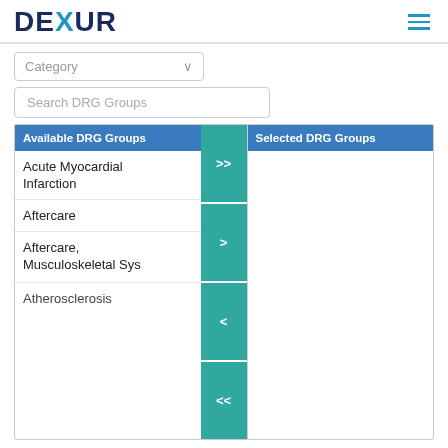DEXUR
[Figure (screenshot): Category dropdown selector UI element]
[Figure (screenshot): Search DRG Groups input with Available DRG Groups and Selected DRG Groups dual-listbox UI with transfer buttons (>>, >, <, <<). Available items: Acute Myocardial Infarction, Aftercare, Aftercare Musculoskeletal Sys, Atherosclerosis]
[Figure (screenshot): Search button]
*All Cause Readmission Rate, Unplanned Readmission Rate are